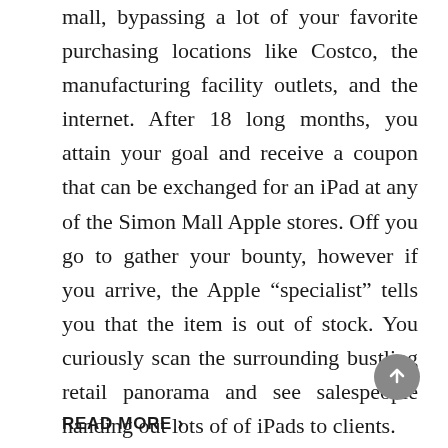mall, bypassing a lot of your favorite purchasing locations like Costco, the manufacturing facility outlets, and the internet. After 18 long months, you attain your goal and receive a coupon that can be exchanged for an iPad at any of the Simon Mall Apple stores. Off you go to gather your bounty, however if you arrive, the Apple “specialist” tells you that the item is out of stock. You curiously scan the surrounding bustling retail panorama and see salespeople handing out lots of of iPads to clients.
“What gives?” you ask. The specialist responds that solely a certain quantity of iPads could be distributed to coupon house owners …
READ MORE ›